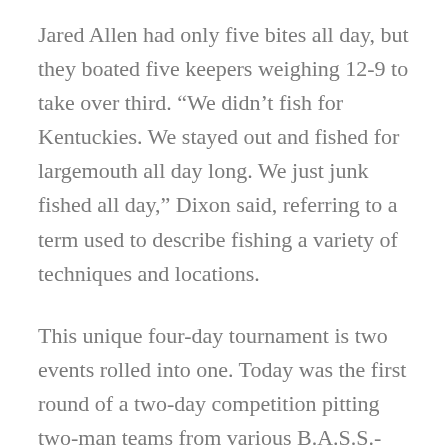Jared Allen had only five bites all day, but they boated five keepers weighing 12-9 to take over third. “We didn’t fish for Kentuckies. We stayed out and fished for largemouth all day long. We just junk fished all day,” Dixon said, referring to a term used to describe fishing a variety of techniques and locations.
This unique four-day tournament is two events rolled into one. Today was the first round of a two-day competition pitting two-man teams from various B.A.S.S.-sanctioned team trails across the country against each other to determine a national champion.
The winning team will be awarded the first-